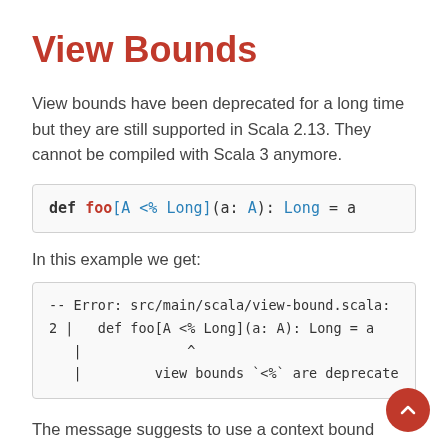View Bounds
View bounds have been deprecated for a long time but they are still supported in Scala 2.13. They cannot be compiled with Scala 3 anymore.
def foo[A <% Long](a: A): Long = a
In this example we get:
-- Error: src/main/scala/view-bound.scala:2
2 |   def foo[A <% Long](a: A): Long = a
  |              ^
  |         view bounds `<%` are deprecated
The message suggests to use a context bound instead of a view bound but it would change the signature of the method. It is probably easier and